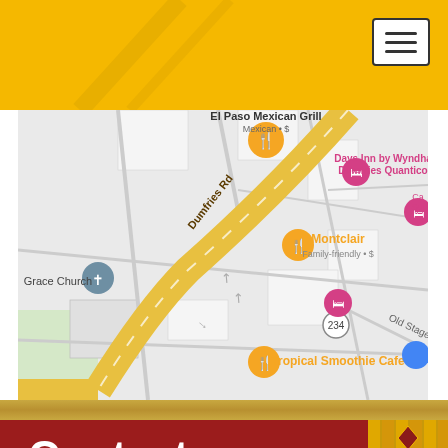[Figure (map): Google Maps screenshot showing Dumfries Rd area with nearby landmarks: El Paso Mexican Grill, Days Inn by Wyndham Dumfries Quantico, Montclair (Family-friendly), Tropical Smoothie Cafe, Grace Church, Old Stage Rd, and route marker 234.]
Contact INFORMATION